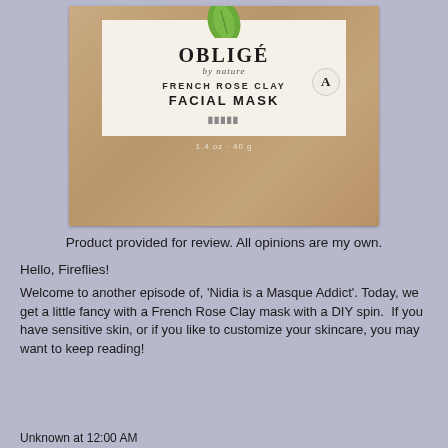[Figure (photo): Product photo of OBLIGÉ by nature French Rose Clay Facial Mask box, kraft cardboard with cream label, green leaf logo, and circular 'A' badge, 1.4 oz / 40 g]
Product provided for review. All opinions are my own.
Hello, Fireflies!
Welcome to another episode of, 'Nidia is a Masque Addict'. Today, we get a little fancy with a French Rose Clay mask with a DIY spin.  If you have sensitive skin, or if you like to customize your skincare, you may want to keep reading!
Unknown at 12:00 AM